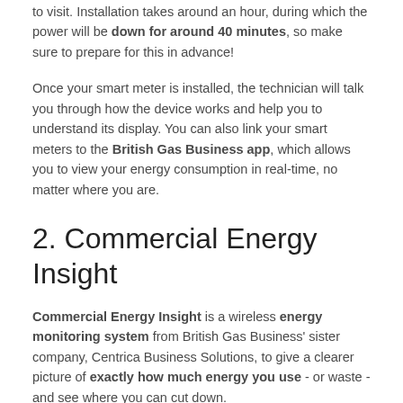to visit. Installation takes around an hour, during which the power will be down for around 40 minutes, so make sure to prepare for this in advance!
Once your smart meter is installed, the technician will talk you through how the device works and help you to understand its display. You can also link your smart meters to the British Gas Business app, which allows you to view your energy consumption in real-time, no matter where you are.
2. Commercial Energy Insight
Commercial Energy Insight is a wireless energy monitoring system from British Gas Business' sister company, Centrica Business Solutions, to give a clearer picture of exactly how much energy you use - or waste - and see where you can cut down.